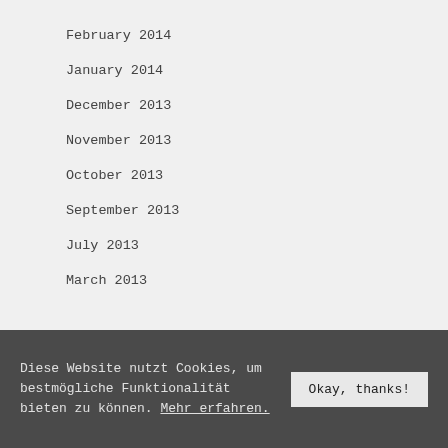February 2014
January 2014
December 2013
November 2013
October 2013
September 2013
July 2013
March 2013
Diese Website nutzt Cookies, um bestmögliche Funktionalität bieten zu können. Mehr erfahren. Okay, thanks!